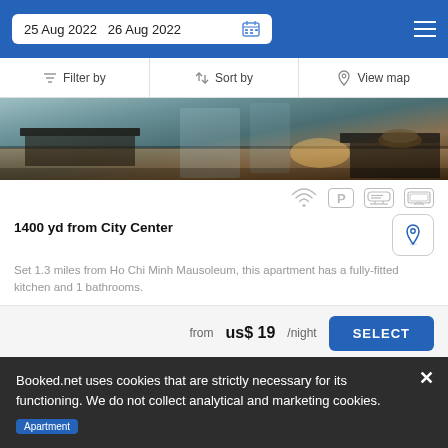25 Aug 2022   26 Aug 2022
Filter by   Sort by   View map
[Figure (photo): Interior photo of an apartment showing kitchen with wooden floors and glass elements]
1400 yd from City Center
Set 1.3 miles from Ho Chi Minh Mausoleum, this apartment has a fully-fitted kitchen and 1 bathrooms.
from us$ 19/night  SELECT
Booked.net uses cookies that are strictly necessary for its functioning. We do not collect analytical and marketing cookies.